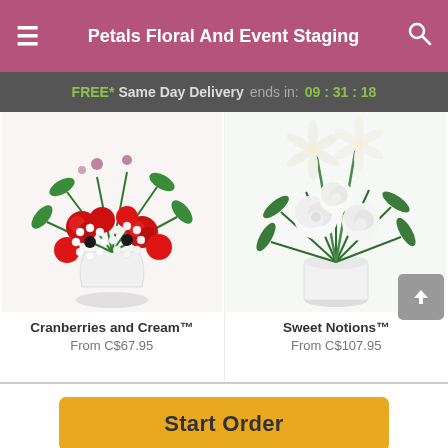Petals Floral And Event Staging
FREE* Same Day Delivery ends in: 09 : 31 : 18
[Figure (photo): Red and white flower arrangement - Cranberries and Cream bouquet in white vase with red carnations and white gerbera daisies]
Cranberries and Cream™
From C$67.95
[Figure (photo): White flower arrangement - Sweet Notions bouquet in white cylindrical vase with white lilies and roses]
Sweet Notions™
From C$107.95
Start Order